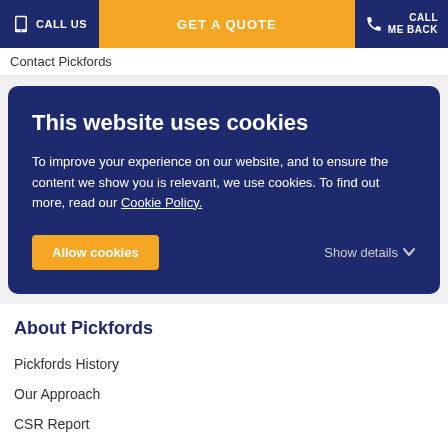CALL US | GET A QUOTE | CALL ME BACK
Contact Pickfords
This website uses cookies
To improve your experience on our website, and to ensure the content we show you is relevant, we use cookies. To find out more, read our Cookie Policy.
Allow cookies | Show details
About Pickfords
Pickfords History
Our Approach
CSR Report
Accreditations and Memberships
News